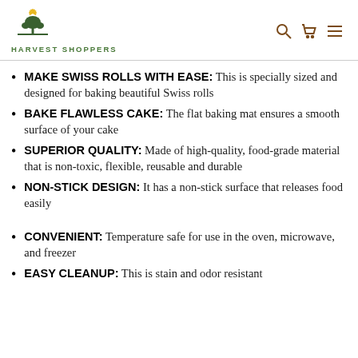Harvest Shoppers
MAKE SWISS ROLLS WITH EASE: This is specially sized and designed for baking beautiful Swiss rolls
BAKE FLAWLESS CAKE: The flat baking mat ensures a smooth surface of your cake
SUPERIOR QUALITY: Made of high-quality, food-grade material that is non-toxic, flexible, reusable and durable
NON-STICK DESIGN: It has a non-stick surface that releases food easily
CONVENIENT: Temperature safe for use in the oven, microwave, and freezer
EASY CLEANUP: This is stain and odor resistant